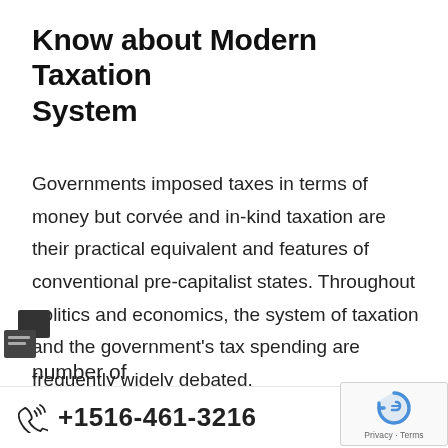Know about Modern Taxation System
Governments imposed taxes in terms of money but corvée and in-kind taxation are their practical equivalent and features of conventional pre-capitalist states. Throughout politics and economics, the system of taxation and the government's tax spending are frequently widely debated.
How do Income taxes work?
+1516-461-3216
number of